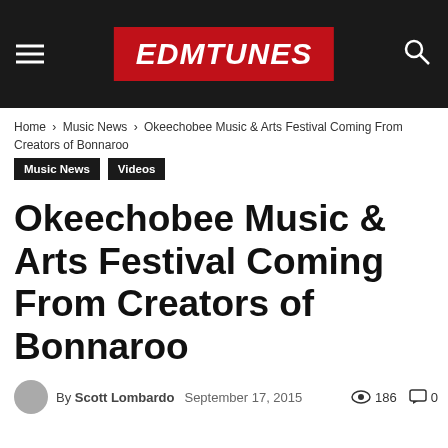EDMTUNES
Home › Music News › Okeechobee Music & Arts Festival Coming From Creators of Bonnaroo
Music News
Videos
Okeechobee Music & Arts Festival Coming From Creators of Bonnaroo
By Scott Lombardo   September 17, 2015   186   0